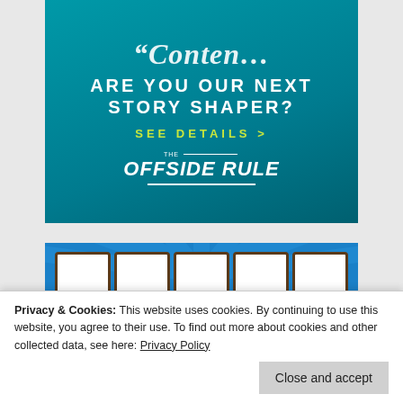[Figure (infographic): Teal/turquoise promotional banner with cursive text at top (partially cut off), large white bold text 'ARE YOU OUR NEXT STORY SHAPER?', yellow-green call-to-action 'SEE DETAILS >', and 'THE OFFSIDE RULE' logo in white italic with horizontal lines.]
[Figure (infographic): Blue banner with radial burst design, large white block letter tiles partially visible forming 'TOP 100' text, and 'FEMALE FULFILLERS' text at the bottom in white bold letters on blue background.]
Privacy & Cookies: This website uses cookies. By continuing to use this website, you agree to their use. To find out more about cookies and other collected data, see here: Privacy Policy
Close and accept